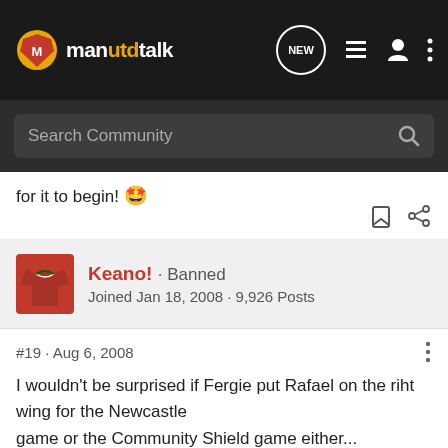manutdtalk — navigation bar with logo, NEW, list, user, and menu icons
Search Community
for it to begin! 🤩
Keano! · Banned
Joined Jan 18, 2008 · 9,926 Posts
#19 · Aug 6, 2008
I wouldn't be surprised if Fergie put Rafael on the riht wing for the Newcastle
game or the Community Shield game either...

....he may be a right back but he gets forward
brilliantly....possibly allow Fletch to